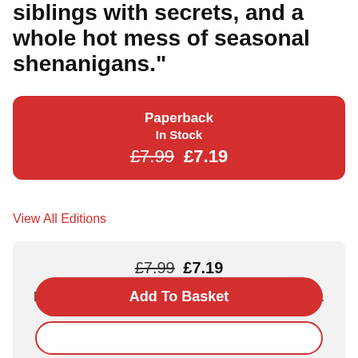siblings with secrets, and a whole hot mess of seasonal shenanigans."
Paperback
In Stock
£7.99 £7.19
View All Editions
£7.99 £7.19
In Stock. Same day dispatch on orders before 3pm.
Add To Basket